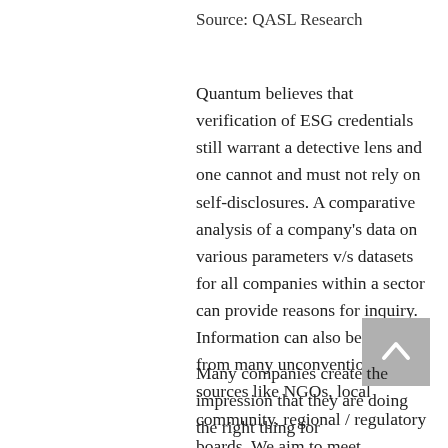Source: QASL Research
Quantum believes that verification of ESG credentials still warrant a detective lens and one cannot and must not rely on self-disclosures. A comparative analysis of a company's data on various parameters v/s datasets for all companies within a sector can provide reasons for inquiry. Information can also be obtained from many unconventional sources like NGOs, local community, regional / regulatory boards. We aim to meet sustainability officers or key management personnel to understand the ESG strategy of a company and seek answers to our queries.
Many companies create the impression that they are doing the right thing for